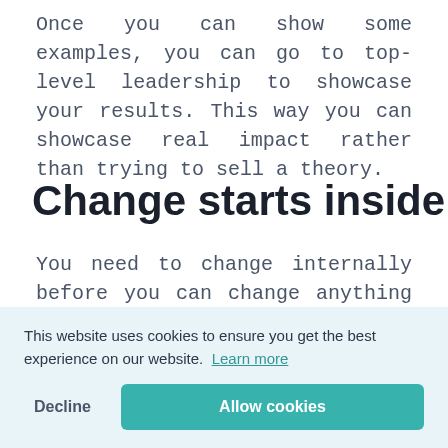Once you can show some examples, you can go to top-level leadership to showcase your results. This way you can showcase real impact rather than trying to sell a theory.
Change starts inside
You need to change internally before you can change anything externally. Even if you're in a [position where you want to] leave. [You need to ensure the] [environment is worth im]proving
This website uses cookies to ensure you get the best experience on our website. Learn more
There is danger in change. Change is often